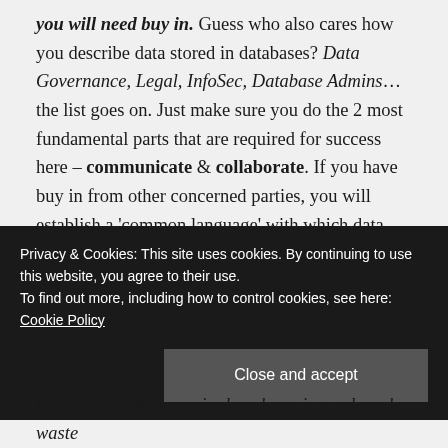you will need buy in. Guess who also cares how you describe data stored in databases? Data Governance, Legal, InfoSec, Database Admins… the list goes on. Just make sure you do the 2 most fundamental parts that are required for success here – communicate & collaborate. If you have buy in from other concerned parties, you will establish a 'common language' with which data can be described and consumed, and based on which complex data-driven business decisions can be made.
Privacy & Cookies: This site uses cookies. By continuing to use this website, you agree to their use. To find out more, including how to control cookies, see here: Cookie Policy
Going through every single column is a colossal waste